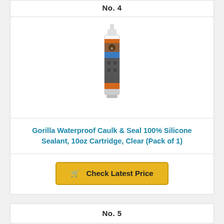No. 4
[Figure (photo): Gorilla Waterproof Caulk & Seal 100% Silicone Sealant product in a white/orange caulk tube cartridge]
Gorilla Waterproof Caulk & Seal 100% Silicone Sealant, 10oz Cartridge, Clear (Pack of 1)
Check Latest Price
No. 5
[Figure (photo): Partial view of product No. 5 — appears to be a metal or silver-colored product]